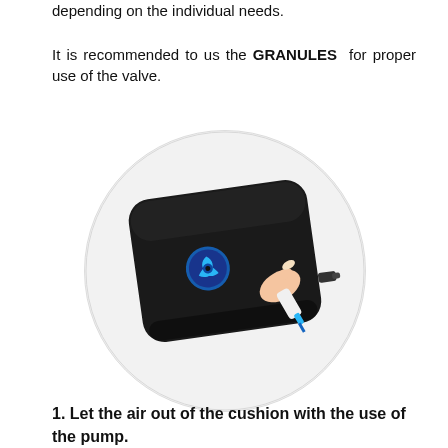depending on the individual needs.

It is recommended to us the GRANULES for proper use of the valve.
[Figure (photo): A black square cushion/pillow with a blue valve fitting, being inflated by a hand holding a pump. The cushion is displayed against a circular light gray background.]
1. Let the air out of the cushion with the use of the pump.